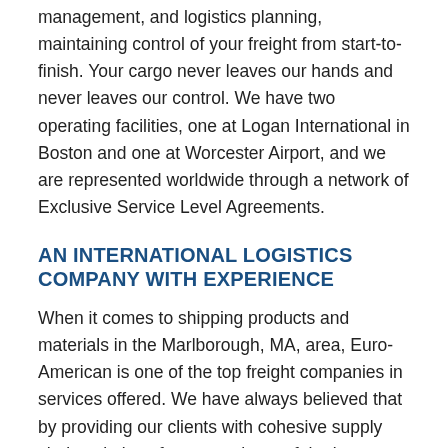management, and logistics planning, maintaining control of your freight from start-to-finish. Your cargo never leaves our hands and never leaves our control. We have two operating facilities, one at Logan International in Boston and one at Worcester Airport, and we are represented worldwide through a network of Exclusive Service Level Agreements.
AN INTERNATIONAL LOGISTICS COMPANY WITH EXPERIENCE
When it comes to shipping products and materials in the Marlborough, MA, area, Euro-American is one of the top freight companies in services offered. We have always believed that by providing our clients with cohesive supply chain solutions for every phase of the journey,